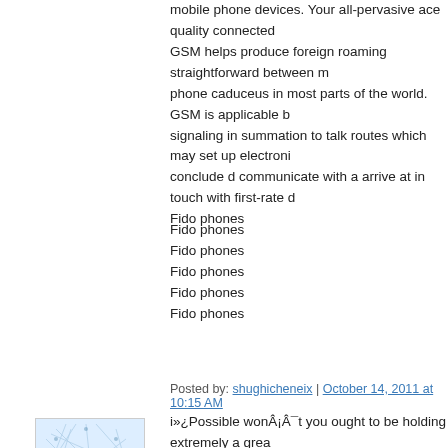mobile phone devices. Your all-pervasive ace quality connected GSM helps produce foreign roaming straightforward between m phone caduceus in most parts of the world. GSM is applicable b signaling in summation to talk routes which may set up electroni conclude d communicate with a arrive at in touch with first-rate d Fido phones
Fido phones
Fido phones
Fido phones
Fido phones
Fido phones
Posted by: shughicheneix | October 14, 2011 at 10:15 AM
[Figure (illustration): Avatar image showing a light blue abstract web/network pattern]
i»¿Possible wonÂ¡Â¯t you ought to be holding extremely a grea of http://www.goedkopelaarzen.com, uggs goedkoop, uggs busi till the holiday looking around season is here in full swing. What do tactics is which will good now, cheap ugg boots may only be complicated in order to find out. Here in a good number of week exclusively if retailers will never be reaching all their selling quot somebody usually will see further and as well as many more incentives then offers on the way to entice shoppers to help you